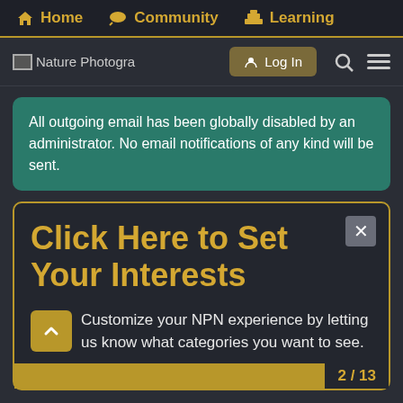Home  Community  Learning
[Figure (screenshot): Secondary navigation bar with Nature Photography site logo, Log In button, search icon, and menu icon]
All outgoing email has been globally disabled by an administrator. No email notifications of any kind will be sent.
Click Here to Set Your Interests
Customize your NPN experience by letting us know what categories you want to see.
2 / 13